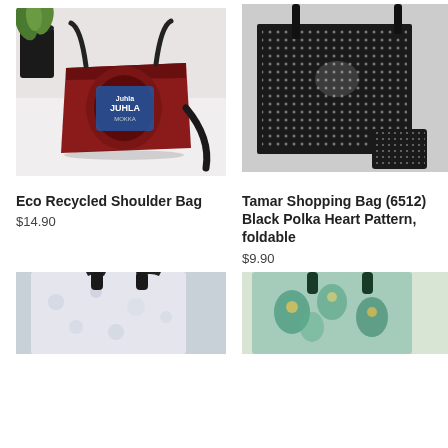[Figure (photo): Eco recycled shoulder bag made from Juhla Mokka coffee packaging, reddish-brown color with black strap, displayed on white surface with a plant in background]
[Figure (photo): Black polka heart pattern shopping bag with matching small pouch, foldable, displayed on gray background]
Eco Recycled Shoulder Bag
$14.90
Tamar Shopping Bag (6512) Black Polka Heart Pattern, foldable
$9.90
[Figure (photo): Partial view of a light-colored patterned tote bag with dark strap on gray background]
[Figure (photo): Partial view of a teal/turquoise floral bag with dark green handle on light background]